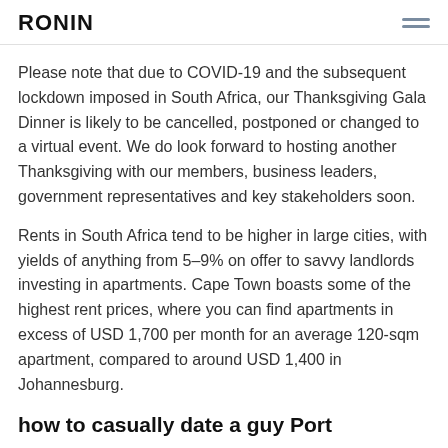RONIN
Please note that due to COVID-19 and the subsequent lockdown imposed in South Africa, our Thanksgiving Gala Dinner is likely to be cancelled, postponed or changed to a virtual event. We do look forward to hosting another Thanksgiving with our members, business leaders, government representatives and key stakeholders soon.
Rents in South Africa tend to be higher in large cities, with yields of anything from 5–9% on offer to savvy landlords investing in apartments. Cape Town boasts some of the highest rent prices, where you can find apartments in excess of USD 1,700 per month for an average 120-sqm apartment, compared to around USD 1,400 in Johannesburg.
how to casually date a guy Port